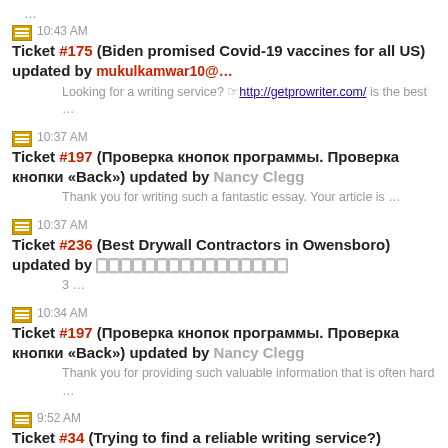…
10:43 AM Ticket #175 (Biden promised Covid-19 vaccines for all US) updated by mukulkamwar10@… | Looking for a writing service? ☞http://getprowriter.com/ is the best …
10:37 AM Ticket #197 (Проверка кнопок программы. Проверка кнопки «Back») updated by Nancy Clegg | Thank you for writing such a fantastic essay. Your article is …
10:37 AM Ticket #236 (Best Drywall Contractors in Owensboro) updated by 🀆🀆🀆🀆🀆🀆🀆🀆🀆🀆🀆🀆🀆🀆🀆🀆 | 3 …
10:34 AM Ticket #197 (Проверка кнопок программы. Проверка кнопки «Back») updated by Nancy Clegg | Thank you for providing such valuable information that is often hard …
9:52 AM Ticket #34 (Trying to find a reliable writing service?) updated by Vip Models | <a href="☞ https://karachivipgirls.com/">Karachi Escort</a>